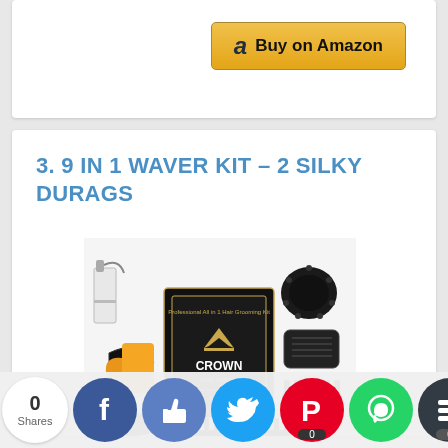[Figure (other): Buy on Amazon button with Amazon logo 'a' icon]
3. 9 IN 1 WAVER KIT – 2 SILKY DURAGS
[Figure (photo): Crown brand 9-in-1 hair waver kit product photo showing black box with Crown logo, spray bottle, wave brushes, combs, and durags arranged around the box]
GREAT VALUE: Included in the kit is: Crown Wave Brush Set, 1 Hard Bristle, 1 Beam Knit...
[Figure (other): Social sharing bar with share count 0, Facebook, Like/thumbs up, Twitter, Pinterest, WhatsApp, Buffer, and Crown icons]